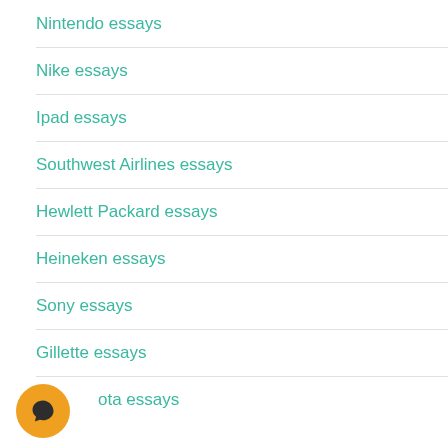Nintendo essays
Nike essays
Ipad essays
Southwest Airlines essays
Hewlett Packard essays
Heineken essays
Sony essays
Gillette essays
Toyota essays